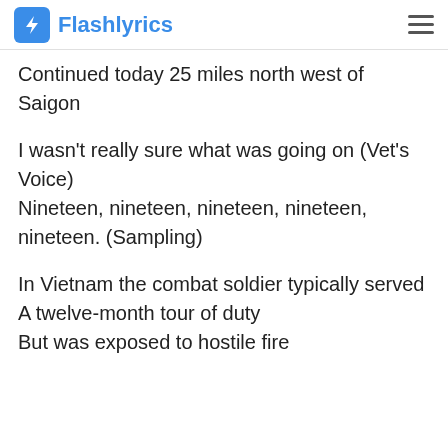Flashlyrics
Continued today 25 miles north west of Saigon
I wasn't really sure what was going on (Vet's Voice)
Nineteen, nineteen, nineteen, nineteen, nineteen. (Sampling)
In Vietnam the combat soldier typically served
A twelve-month tour of duty
But was exposed to hostile fire